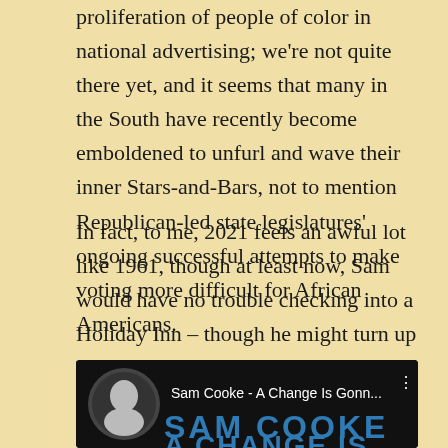proliferation of people of color in national advertising; we're not quite there yet, and it seems that many in the South have recently become emboldened to unfurl and wave their inner Stars-and-Bars, not to mention Republican-led state legislatures' ongoing successful attempts to make voting more difficult for African Americans.
In fact, to me, 2021 feels an awful lot like 1961, though at least now, Sam would have no trouble checking into a Holiday Inn – though he might turn up his nose at one – and Confederate statues are coming down as opposed to being erected.
[Figure (screenshot): YouTube video thumbnail for 'Sam Cooke - A Change Is Gonn...' showing a dark background with the artist name 'SAM COOKE' in large blue letters and partial text below. A circular thumbnail with Sam Cooke's image is visible on the left.]